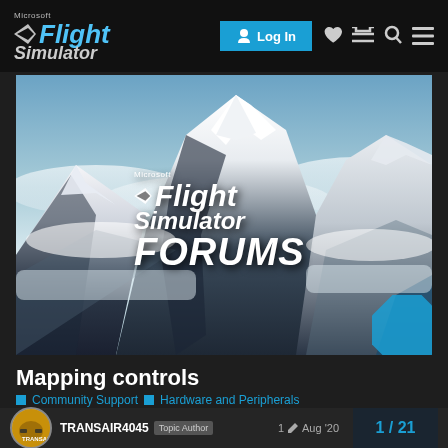Microsoft Flight Simulator — Log In
[Figure (screenshot): Microsoft Flight Simulator Forums hero banner showing snow-capped mountains with clouds, with 'Microsoft Flight Simulator FORUMS' text overlay]
Mapping controls
Community Support  Hardware and Peripherals
TRANSAIR4045  Topic Author  1  Aug '20  1 / 21